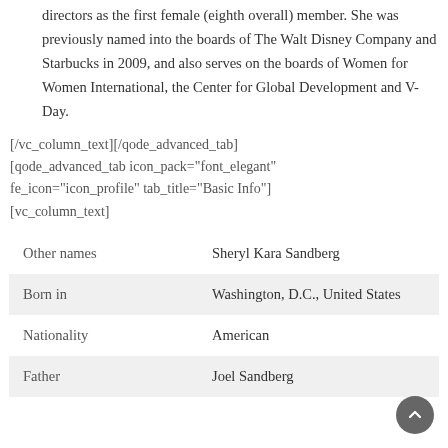directors as the first female (eighth overall) member. She was previously named into the boards of The Walt Disney Company and Starbucks in 2009, and also serves on the boards of Women for Women International, the Center for Global Development and V-Day.
[/vc_column_text][/qode_advanced_tab] [qode_advanced_tab icon_pack="font_elegant" fe_icon="icon_profile" tab_title="Basic Info"] [vc_column_text]
|  |  |
| --- | --- |
| Other names | Sheryl Kara Sandberg |
| Born in | Washington, D.C., United States |
| Nationality | American |
| Father | Joel Sandberg |